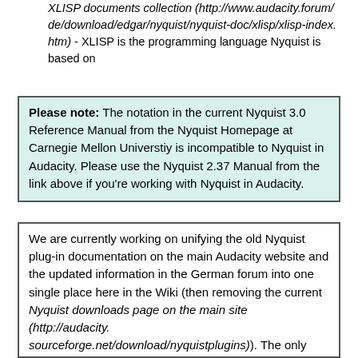XLISP documents collection (http://www.audacity.forum/de/download/edgar/nyquist/nyquist-doc/xlisp/xlisp-index.htm) - XLISP is the programming language Nyquist is based on
Please note: The notation in the current Nyquist 3.0 Reference Manual from the Nyquist Homepage at Carnegie Mellon Universtiy is incompatible to Nyquist in Audacity. Please use the Nyquist 2.37 Manual from the link above if you're working with Nyquist in Audacity.
We are currently working on unifying the old Nyquist plug-in documentation on the main Audacity website and the updated information in the German forum into one single place here in the Wiki (then removing the current Nyquist downloads page on the main site (http://audacity.sourceforge.net/download/nyquistplugins)). The only disadvantage of this is that the potential (unused) mechanism for translating this page is lost. Doing this was never a priority as the plug-ins themselves are in English. Possibly we could in time add (at least, German) translations of Wiki Nyquist pages, or even links to